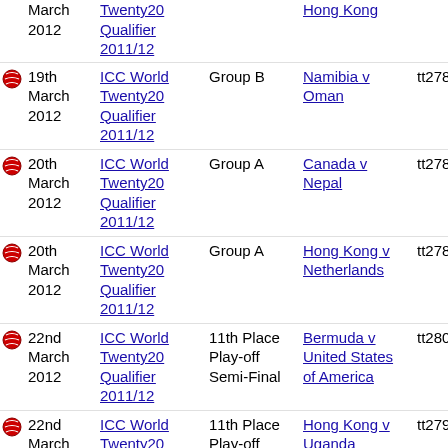March 2012 | ICC World Twenty20 Qualifier 2011/12 | | Hong Kong |
19th March 2012 | ICC World Twenty20 Qualifier 2011/12 | Group B | Namibia v Oman | tt2784
20th March 2012 | ICC World Twenty20 Qualifier 2011/12 | Group A | Canada v Nepal | tt2789
20th March 2012 | ICC World Twenty20 Qualifier 2011/12 | Group A | Hong Kong v Netherlands | tt2786
22nd March 2012 | ICC World Twenty20 Qualifier 2011/12 | 11th Place Play-off Semi-Final | Bermuda v United States of America | tt2801
22nd March 2012 | ICC World Twenty20 Qualifier 2011/12 | 11th Place Play-off Semi-Final | Hong Kong v Uganda | tt2798
3rd March | Scotland in | | Afghanistan v | tt3408